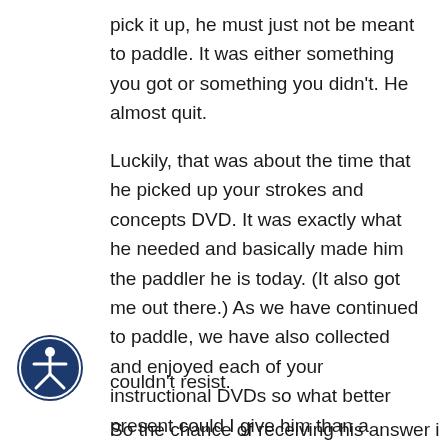pick it up, he must just not be meant to paddle. It was either something you got or something you didn't. He almost quit.
Luckily, that was about the time that he picked up your strokes and concepts DVD. It was exactly what he needed and basically made him the paddler he is today. (It also got me out there.) As we have continued to paddle, we have also collected and enjoyed each of your instructional DVDs so what better present could I give him than a chance to learn directly from Eric Jackson?
couldn't resist.
So the chance of receiving his answer i...